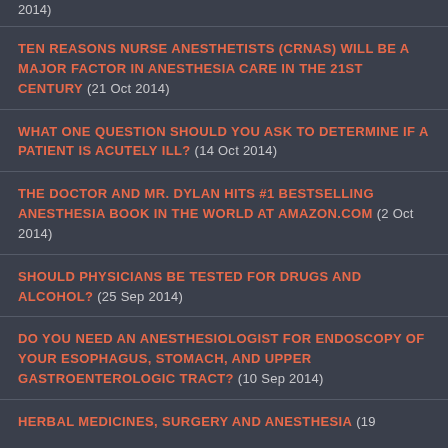2014)
TEN REASONS NURSE ANESTHETISTS (CRNAs) WILL BE A MAJOR FACTOR IN ANESTHESIA CARE IN THE 21ST CENTURY  (21 Oct 2014)
WHAT ONE QUESTION SHOULD YOU ASK TO DETERMINE IF A PATIENT IS ACUTELY ILL?  (14 Oct 2014)
THE DOCTOR AND MR. DYLAN HITS #1 BESTSELLING ANESTHESIA BOOK IN THE WORLD AT AMAZON.COM  (2 Oct 2014)
SHOULD PHYSICIANS BE TESTED FOR DRUGS AND ALCOHOL?  (25 Sep 2014)
DO YOU NEED AN ANESTHESIOLOGIST FOR ENDOSCOPY OF YOUR ESOPHAGUS, STOMACH, AND UPPER GASTROENTEROLOGIC TRACT?  (10 Sep 2014)
HERBAL MEDICINES, SURGERY AND ANESTHESIA  (19